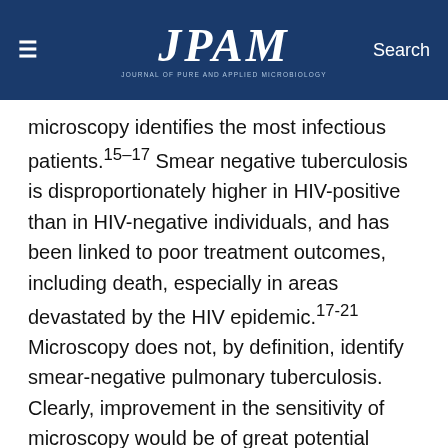≡  JPAM  Search
microscopy identifies the most infectious patients.15–17 Smear negative tuberculosis is disproportionately higher in HIV-positive than in HIV-negative individuals, and has been linked to poor treatment outcomes, including death, especially in areas devastated by the HIV epidemic.17-21 Microscopy does not, by definition, identify smear-negative pulmonary tuberculosis. Clearly, improvement in the sensitivity of microscopy would be of great potential value. Reports describing newer sputum processing methods with chemical processing and sputum concentration to improve the sensitivity of microscopy.11 In the present study, among